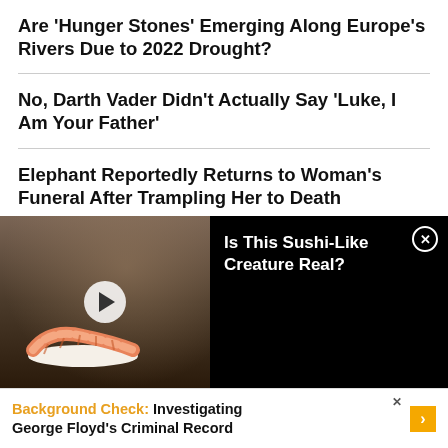Are 'Hunger Stones' Emerging Along Europe's Rivers Due to 2022 Drought?
No, Darth Vader Didn't Actually Say 'Luke, I Am Your Father'
Elephant Reportedly Returns to Woman's Funeral After Trampling Her to Death
What Happens If Trump Goes on Trial Over Jan. 6?
[Figure (screenshot): Video thumbnail showing a sushi-like creature (shrimp sushi) on sand with a play button, beside black panel with title 'Is This Sushi-Like Creature Real?' and close button]
[Figure (screenshot): Advertisement bar: 'Background Check: Investigating George Floyd's Criminal Record' with close X and yellow arrow button]